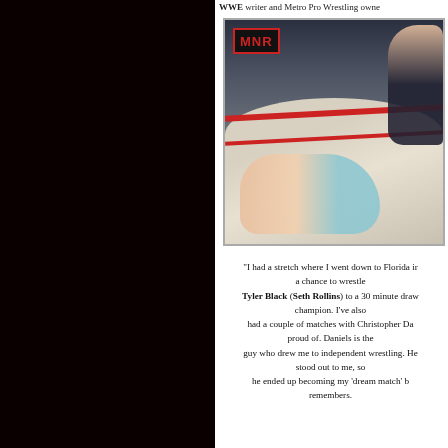WWE writer and Metro Pro Wrestling owner
[Figure (photo): Wrestling ring photo showing one wrestler down on the mat and another standing with arm raised. MNR logo visible in upper left corner of the image.]
"I had a stretch where I went down to Florida in a chance to wrestle Tyler Black (Seth Rollins) to a 30 minute draw champion. I've also had a couple of matches with Christopher Da proud of. Daniels is the guy who drew me to independent wrestling. He stood out to me, so he ended up becoming my 'dream match' b remembers.